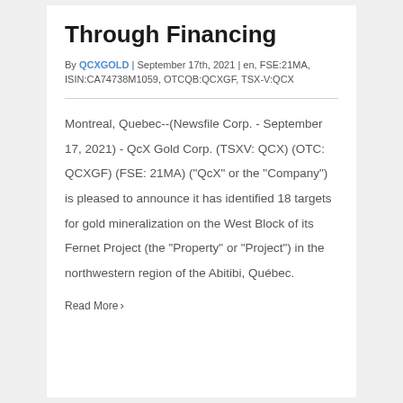Through Financing
By QCXGOLD | September 17th, 2021 | en, FSE:21MA, ISIN:CA74738M1059, OTCQB:QCXGF, TSX-V:QCX
Montreal, Quebec--(Newsfile Corp. - September 17, 2021) - QcX Gold Corp. (TSXV: QCX) (OTC: QCXGF) (FSE: 21MA) ("QcX" or the "Company") is pleased to announce it has identified 18 targets for gold mineralization on the West Block of its Fernet Project (the "Property" or "Project") in the northwestern region of the Abitibi, Québec.
Read More >